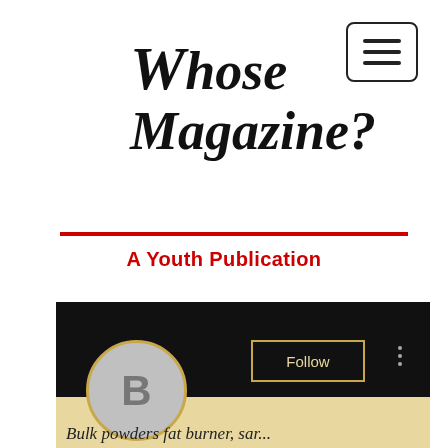[Figure (other): Hamburger menu button icon with three horizontal lines inside a rounded rectangle border]
Whose Magazine?
A Youth Publication
[Figure (other): Three social media icons (Blogger, Facebook, Instagram) as white icons on black circles]
MISSION
[Figure (other): Blogger profile screenshot: black header background, grey circle avatar with letter B, Follow button with gold border, three vertical dots menu, tan/cream lower section with partial text 'Bulk powders fat burner...']